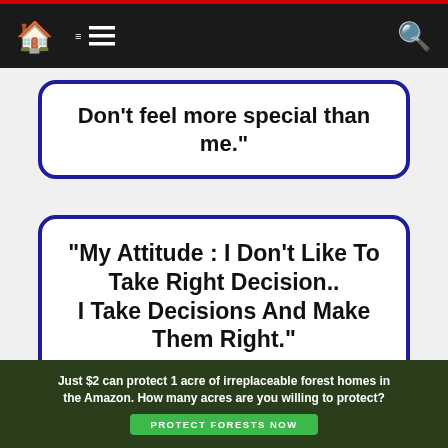Navigation bar with home, menu, and search icons
Don’t feel more special than me.”
“My Attitude : I Don’t Like To Take Right Decision.. I Take Decisions And Make Them Right.”
“Your attitude can make all the difference in how your day will begin and end.”
Just $2 can protect 1 acre of irreplaceable forest homes in the Amazon. How many acres are you willing to protect? PROTECT FORESTS NOW